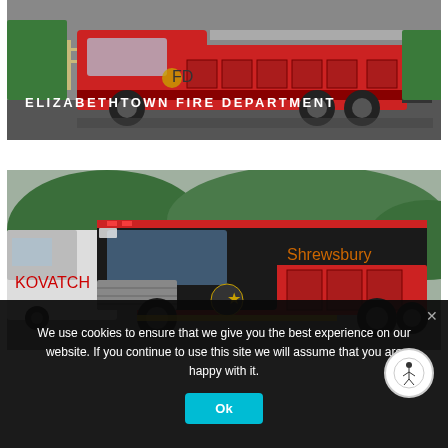[Figure (photo): Red fire truck (Elizabethtown Fire Department) parked outdoors, rear-side view, with trees and pavement visible in background. White text overlay reads ELIZABETHTOWN FIRE DEPARTMENT.]
[Figure (photo): Large red and black fire/rescue truck (Shrewsbury) parked in a lot with trees and hills in background. Another white vehicle partially visible on the left.]
We use cookies to ensure that we give you the best experience on our website. If you continue to use this site we will assume that you are happy with it.